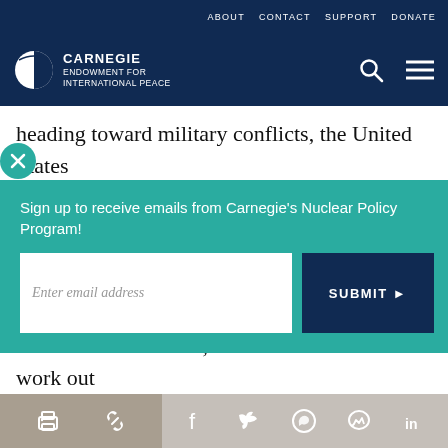ABOUT  CONTACT  SUPPORT  DONATE
[Figure (logo): Carnegie Endowment for International Peace logo with globe icon and navigation icons (search, menu)]
heading toward military conflicts, the United States seems to be moving toward negotiated solutions that c
Sign up to receive emails from Carnegie's Nuclear Policy Program!
Enter email address
SUBMIT ▶
result of the American success in Iraq or of our failures there. That is, have we been able to work out
[share icons: print, link, facebook, twitter, whatsapp, messenger, linkedin]